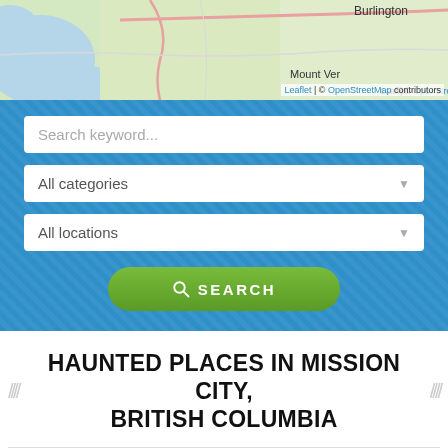[Figure (map): Partial map showing Burlington and Mount Vernon area with roads and terrain features. Leaflet | © OpenStreetMap contributors attribution.]
Search keyword...
All categories
All locations
SEARCH
HAUNTED PLACES IN MISSION CITY, BRITISH COLUMBIA
Trethewey House Heritage